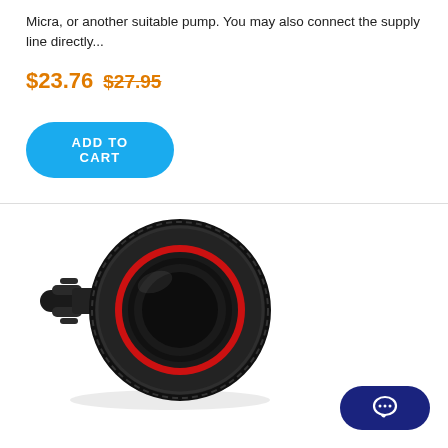Micra, or another suitable pump. You may also connect the supply line directly...
$23.76  $27.95
[Figure (other): ADD TO CART button — blue rounded pill button with white bold text]
[Figure (photo): Black plastic hose fitting/connector with red rubber gasket visible inside the threaded female end, and a barbed male end on the left side.]
[Figure (other): Dark navy blue rounded pill button with a white chat/speech bubble icon]